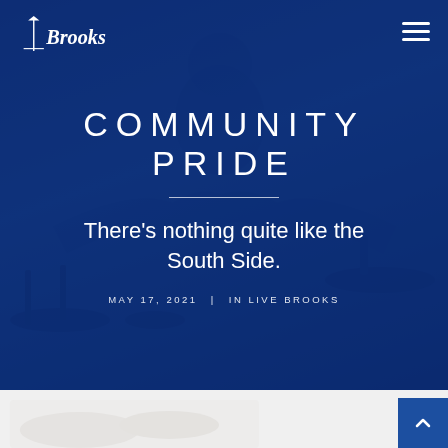[Figure (photo): Hero image of a Brooks restaurant employee smiling with arms outstretched over a table with food and drinks, overlaid with a dark blue tint]
Brooks (logo)
COMMUNITY PRIDE
There's nothing quite like the South Side.
MAY 17, 2021  |  IN LIVE BROOKS